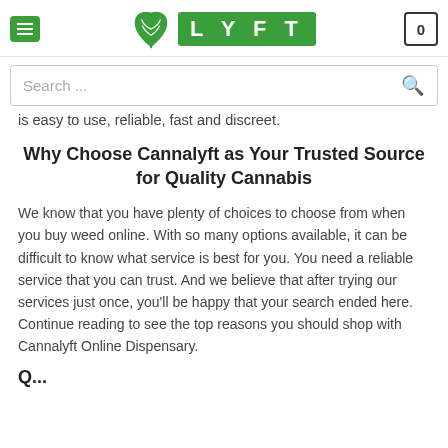[Figure (logo): Cannalyft website header with hamburger menu, leaf logo, LYFT green box, and cart icon showing 0]
[Figure (screenshot): Search bar with placeholder text 'Search ...' and magnifying glass icon]
is easy to use, reliable, fast and discreet.
Why Choose Cannalyft as Your Trusted Source for Quality Cannabis
We know that you have plenty of choices to choose from when you buy weed online. With so many options available, it can be difficult to know what service is best for you. You need a reliable service that you can trust. And we believe that after trying our services just once, you'll be happy that your search ended here. Continue reading to see the top reasons you should shop with Cannalyft Online Dispensary.
Q...